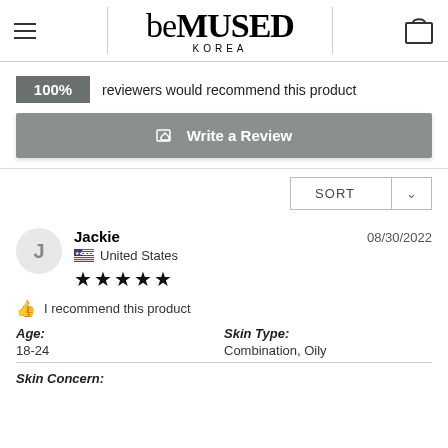beMUSED KOREA
100% reviewers would recommend this product
Write a Review
SORT
Jackie  08/30/2022  United States  ★★★★★
I recommend this product
Age: 18-24
Skin Type: Combination, Oily
Skin Concern: